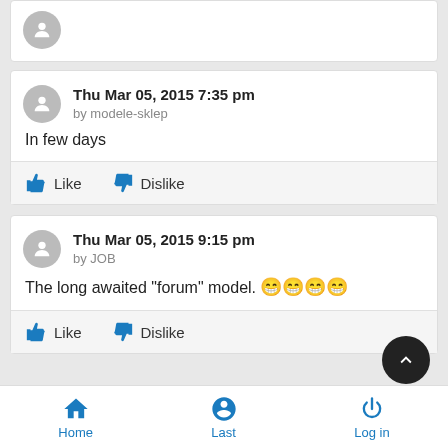[Figure (other): Partial top comment card showing user avatar (gray circle with person icon)]
Thu Mar 05, 2015 7:35 pm
by modele-sklep

In few days
Like  Dislike
Thu Mar 05, 2015 9:15 pm
by JOB

The long awaited "forum" model. 😁😁😁😁
Like  Dislike
Home  Last  Log in